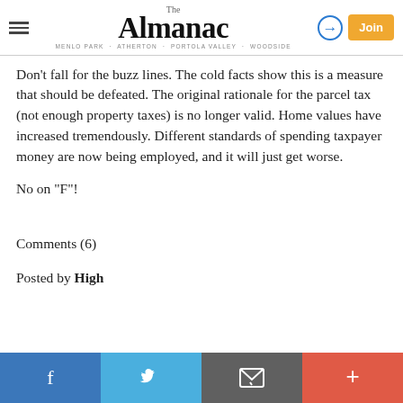The Almanac — MENLO PARK · ATHERTON · PORTOLA VALLEY · WOODSIDE
Don't fall for the buzz lines. The cold facts show this is a measure that should be defeated. The original rationale for the parcel tax (not enough property taxes) is no longer valid. Home values have increased tremendously. Different standards of spending taxpayer money are now being employed, and it will just get worse.
No on "F"!
Comments (6)
Posted by High